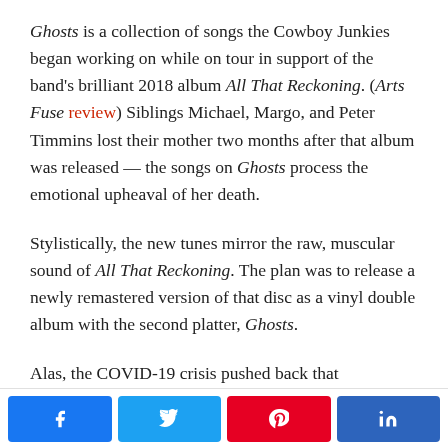Ghosts is a collection of songs the Cowboy Junkies began working on while on tour in support of the band's brilliant 2018 album All That Reckoning. (Arts Fuse review) Siblings Michael, Margo, and Peter Timmins lost their mother two months after that album was released — the songs on Ghosts process the emotional upheaval of her death.
Stylistically, the new tunes mirror the raw, muscular sound of All That Reckoning. The plan was to release a newly remastered version of that disc as a vinyl double album with the second platter, Ghosts.
Alas, the COVID-19 crisis pushed back that
[Figure (other): Social share buttons: Facebook, Twitter, Pinterest, LinkedIn]